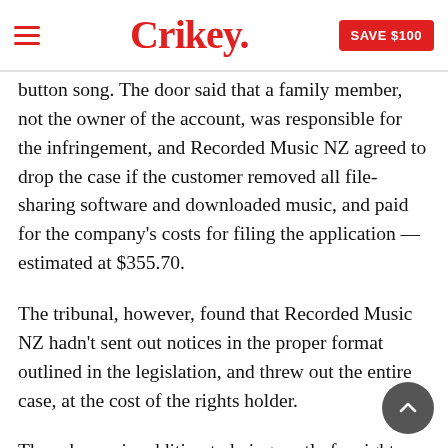Crikey.  SAVE $100
button song. The door said that a family member, not the owner of the account, was responsible for the infringement, and Recorded Music NZ agreed to drop the case if the customer removed all file-sharing software and downloaded music, and paid for the company's costs for filing the application — estimated at $355.70.
The tribunal, however, found that Recorded Music NZ hadn't sent out notices in the proper format outlined in the legislation, and threw out the entire case, at the cost of the rights holder.
The scheme, in addition to being costly for rights holders, is very limiting. The New Zealand